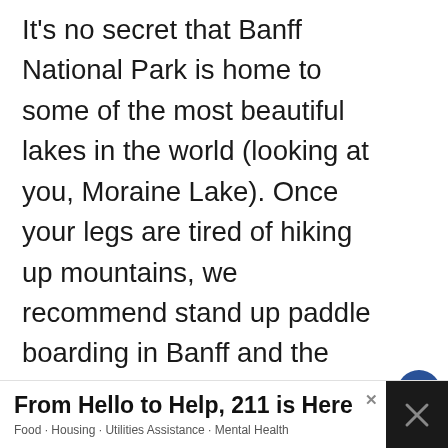It's no secret that Banff National Park is home to some of the most beautiful lakes in the world (looking at you, Moraine Lake). Once your legs are tired of hiking up mountains, we recommend stand up paddle boarding in Banff and the surrounding area as one of the best ways to truly appreciate the beauty of these lakes surrounded by towering mountains.
[Figure (photo): Mountain landscape with snow-capped peaks, evergreen trees in foreground, blue sky with clouds. A 'What's Next' badge overlays the top-right showing Quarry Lake - Canmore with a circular thumbnail.]
From Hello to Help, 211 is Here
Food · Housing · Utilities Assistance · Mental Health